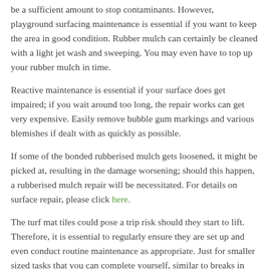be a sufficient amount to stop contaminants. However, playground surfacing maintenance is essential if you want to keep the area in good condition. Rubber mulch can certainly be cleaned with a light jet wash and sweeping. You may even have to top up your rubber mulch in time.
Reactive maintenance is essential if your surface does get impaired; if you wait around too long, the repair works can get very expensive. Easily remove bubble gum markings and various blemishes if dealt with as quickly as possible.
If some of the bonded rubberised mulch gets loosened, it might be picked at, resulting in the damage worsening; should this happen, a rubberised mulch repair will be necessitated. For details on surface repair, please click here.
The turf mat tiles could pose a trip risk should they start to lift. Therefore, it is essential to regularly ensure they are set up and even conduct routine maintenance as appropriate. Just for smaller sized tasks that you can complete yourself, similar to breaks in wet pour, DIY sets are readily available.